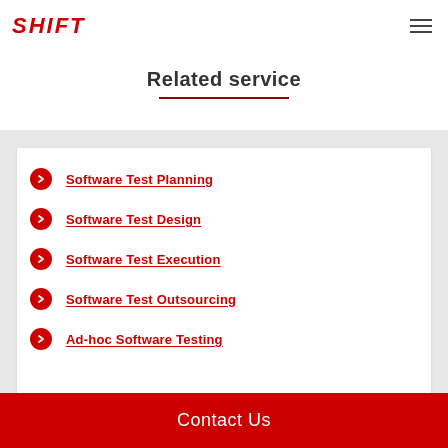SHIFT
Related service
Software Test Planning
Software Test Design
Software Test Execution
Software Test Outsourcing
Ad-hoc Software Testing
Contact Us